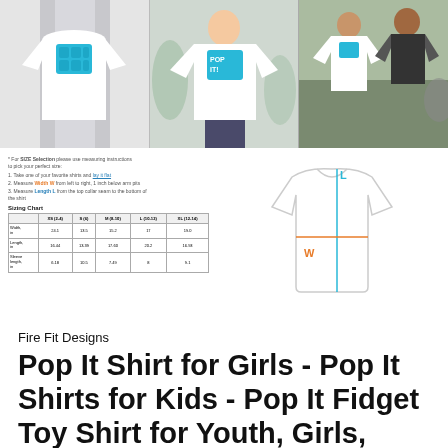[Figure (photo): Three product photos of a white Pop It shirt shown on models/mannequins. Left: child mannequin with teal Pop It graphic. Center: child model with Pop It shirt. Right: two people outdoors one wearing the shirt.]
[Figure (infographic): Size guide with measuring instructions and a sizing chart table, plus a diagram of a white t-shirt with blue L (length) and orange W (width) measurement lines marked.]
Fire Fit Designs
Pop It Shirt for Girls - Pop It Shirts for Kids - Pop It Fidget Toy Shirt for Youth, Girls, Kids - White